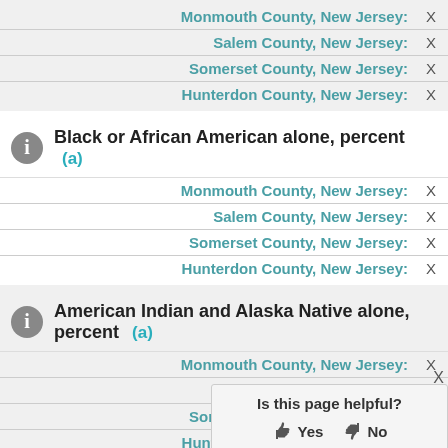Monmouth County, New Jersey: X
Salem County, New Jersey: X
Somerset County, New Jersey: X
Hunterdon County, New Jersey: X
Black or African American alone, percent (a)
Monmouth County, New Jersey: X
Salem County, New Jersey: X
Somerset County, New Jersey: X
Hunterdon County, New Jersey: X
American Indian and Alaska Native alone, percent (a)
Monmouth County, New Jersey: X
Salem County, New Jersey: X
Somerset County, New Jersey: X
Hunterdon County, New Jersey: X